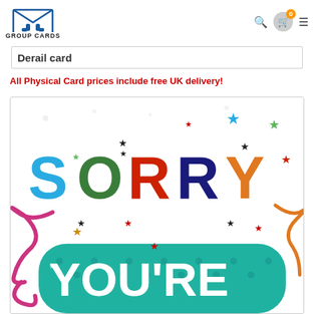GROUP CARDS
Derail card
All Physical Card prices include free UK delivery!
[Figure (illustration): Colorful illustrated sorry card showing the word SORRY in large multicolored patterned letters with stars and ribbons, and YOU'RE text below in white on a teal polka dot background.]